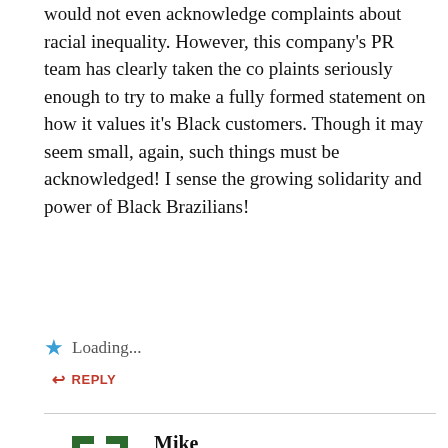would not even acknowledge complaints about racial inequality. However, this company's PR team has clearly taken the co plaints seriously enough to try to make a fully formed statement on how it values it's Black customers. Though it may seem small, again, such things must be acknowledged! I sense the growing solidarity and power of Black Brazilians!
Loading...
REPLY
Mike
JUNE 6, 2016 AT 8:55 PM
No Bamabrasileira, It isn't a victory at all. Picadilly only wrote the letter to come up
with a BS excuse for not fully showing the Black wome
PLEASE SUPPORT THE CAUSE WITH A SMALL DONATION
to shut up Black Brazilians who were about to compl... loudly.